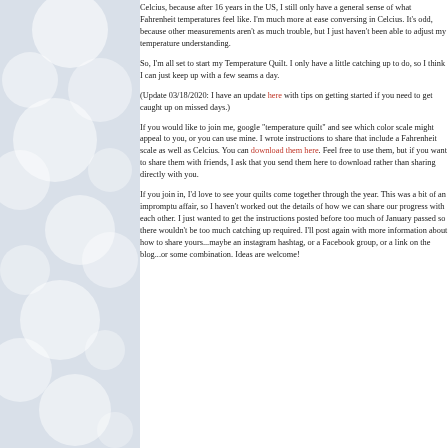[Figure (illustration): Decorative background with soft grey-blue bokeh/bubble circles on left side of page]
Celcius, because after 16 years in the US, I still only have a general sense of what Fahrenheit temperatures feel like. I'm much more at ease conversing in Celcius.  It's odd, because other measurements aren't as much trouble, but I just haven't been able to adjust my temperature understanding.
So, I'm all set to start my Temperature Quilt.  I only have a little catching up to do, so I think I can just keep up with a few seams a day.
(Update 03/18/2020:  I have an update here with tips on getting started if you need to get caught up on missed days.)
If you would like to join me, google "temperature quilt" and see which color scale might appeal to you, or you can use mine.  I wrote instructions to share that include a Fahrenheit scale as well as Celcius.  You can download them here.  Feel free to use them, but if you want to share them with friends, I ask that you send them here to download rather than sharing directly with you.
If you join in, I'd love to see your quilts come together through the year.  This was a bit of an impromptu affair, so I haven't worked out the details of how we can share our progress with each other.  I just wanted to get the instructions posted before too much of January passed so there wouldn't be too much catching up required.  I'll post again with more information about how to share yours...maybe an instagram hashtag, or a Facebook group, or a link on the blog...or some combination.  Ideas are welcome!